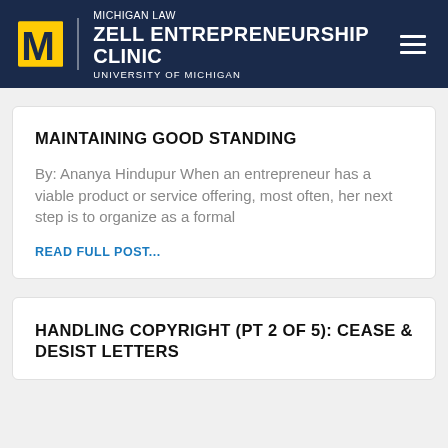MICHIGAN LAW ZELL ENTREPRENEURSHIP CLINIC UNIVERSITY OF MICHIGAN
MAINTAINING GOOD STANDING
By: Ananya Hindupur When an entrepreneur has a viable product or service offering, most often, her next step is to organize as a formal
READ FULL POST...
HANDLING COPYRIGHT (PT 2 OF 5): CEASE & DESIST LETTERS